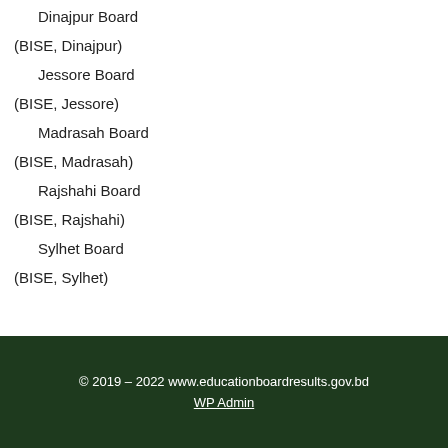Dinajpur Board
(BISE, Dinajpur)
Jessore Board
(BISE, Jessore)
Madrasah Board
(BISE, Madrasah)
Rajshahi Board
(BISE, Rajshahi)
Sylhet Board
(BISE, Sylhet)
© 2019 – 2022 www.educationboardresults.gov.bd
WP Admin